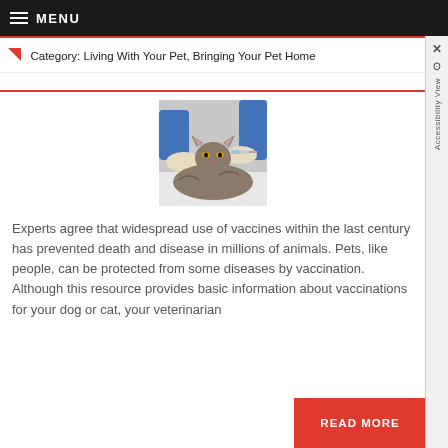MENU
Category: Living With Your Pet, Bringing Your Pet Home
[Figure (photo): A veterinarian in blue scrubs and white gloves administering an injection to a long-haired cat on an examination table.]
Experts agree that widespread use of vaccines within the last century has prevented death and disease in millions of animals. Pets, like people, can be protected from some diseases by vaccination. Although this resource provides basic information about vaccinations for your dog or cat, your veterinarian
READ MORE